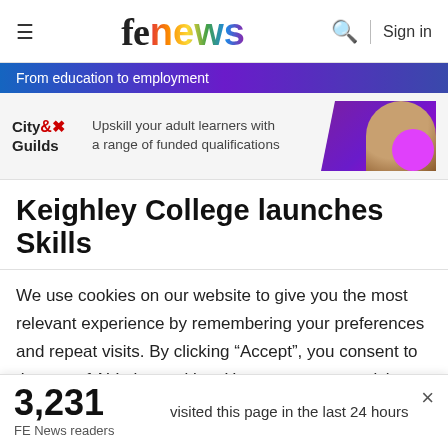fe news | Sign in
From education to employment
[Figure (other): City & Guilds advertisement banner: 'Upskill your adult learners with a range of funded qualifications' with a photo of a woman smiling against a purple background]
Keighley College launches Skills
We use cookies on our website to give you the most relevant experience by remembering your preferences and repeat visits. By clicking “Accept”, you consent to the use of ALL the cookies. However you may visit Cookie
3,231 FE News readers visited this page in the last 24 hours